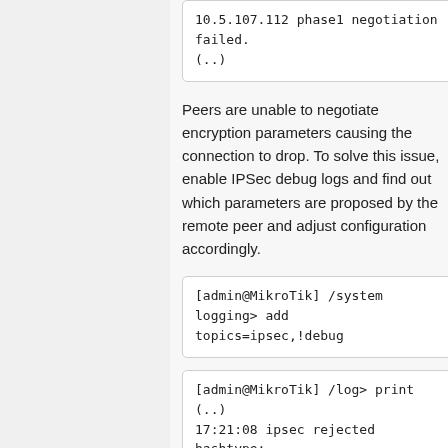10.5.107.112 phase1 negotiation failed.
(..)
Peers are unable to negotiate encryption parameters causing the connection to drop. To solve this issue, enable IPSec debug logs and find out which parameters are proposed by the remote peer and adjust configuration accordingly.
[admin@MikroTik] /system logging> add topics=ipsec,!debug
[admin@MikroTik] /log> print
(..)
17:21:08 ipsec rejected hashtype: DB(prop#1:trns#1):Peer(prop#1:trns#1) = MD5:SHA
17:21:08 ipsec rejected enctype: DB(prop#1:trns#2):Peer(prop#1:t